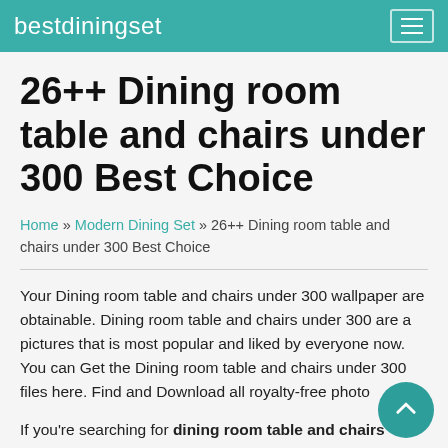bestdiningset
26++ Dining room table and chairs under 300 Best Choice
Home » Modern Dining Set » 26++ Dining room table and chairs under 300 Best Choice
Your Dining room table and chairs under 300 wallpaper are obtainable. Dining room table and chairs under 300 are a pictures that is most popular and liked by everyone now. You can Get the Dining room table and chairs under 300 files here. Find and Download all royalty-free photo
If you're searching for dining room table and chairs under 300 pictures information connected with to the